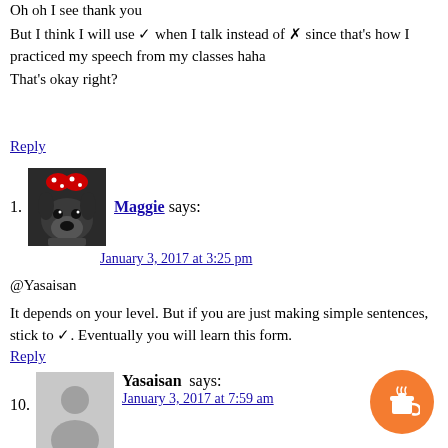Oh oh I see thank you
But I think I will use ✓ when I talk instead of ✗ since that's how I practiced my speech from my classes haha
That's okay right?
Reply
1. Maggie says:
January 3, 2017 at 3:25 pm

@Yasaisan

It depends on your level. But if you are just making simple sentences, stick to ✓. Eventually you will learn this form.
Reply
10. Yasaisan says:
January 3, 2017 at 7:59 am

Why is ??? instead of ???